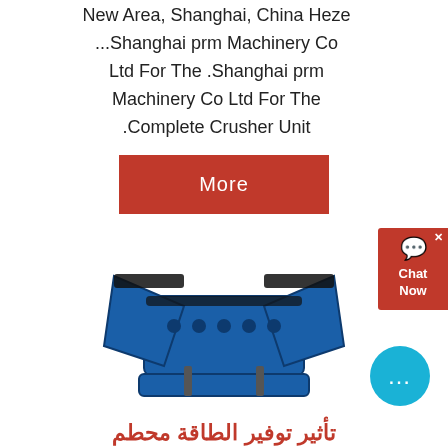New Area, Shanghai, China Heze ...Shanghai prm Machinery Co Ltd For The .Shanghai prm Machinery Co Ltd For The .Complete Crusher Unit
[Figure (photo): Blue industrial impact crusher / hammer crusher machine with black components, viewed from an angle]
تأثير توفير الطاقة محطم
المحمول تأثير محطم سعر ع ع 1214 تأثير محطم تأثير محطم الدوار توفير الطاقة جانب اليع مخروط